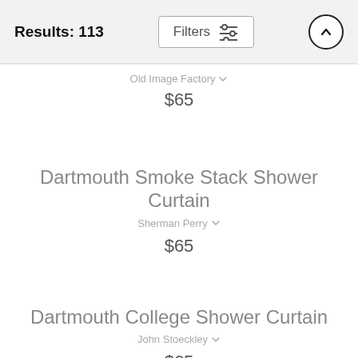Results: 113
Old Image Factory $65
Dartmouth Smoke Stack Shower Curtain
Sherman Perry $65
Dartmouth College Shower Curtain
John Stoeckley $65